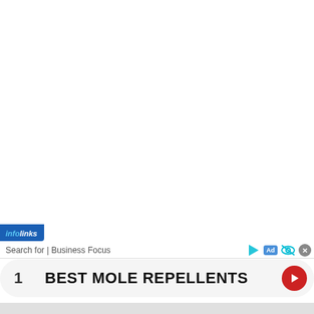[Figure (screenshot): Infolinks advertisement banner with search bar showing 'Search for | Business Focus' and a result row labeled '1 BEST MOLE REPELLENTS' with a red arrow button on the right, and close/ad icons on the top right]
Search for | Business Focus
1   BEST MOLE REPELLENTS